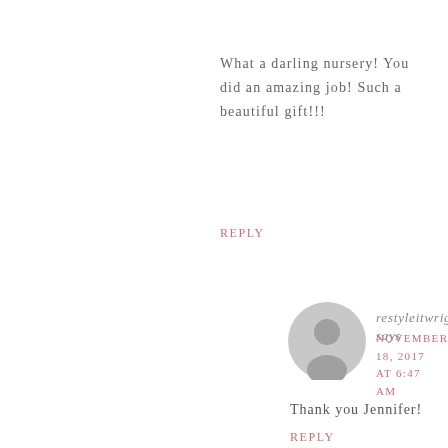What a darling nursery! You did an amazing job! Such a beautiful gift!!!
Reply
[Figure (illustration): Generic gray user avatar icon (circle with person silhouette)]
restyleitwright says
NOVEMBER 18, 2017 AT 6:47 AM
Thank you Jennifer!
Reply